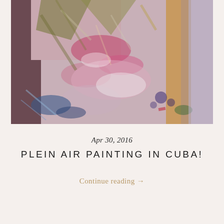[Figure (photo): Close-up abstract painting with expressive brushstrokes in pinks, purples, greens, blues, and golds — an impressionistic plein air painting.]
Apr 30, 2016
PLEIN AIR PAINTING IN CUBA!
Continue reading →